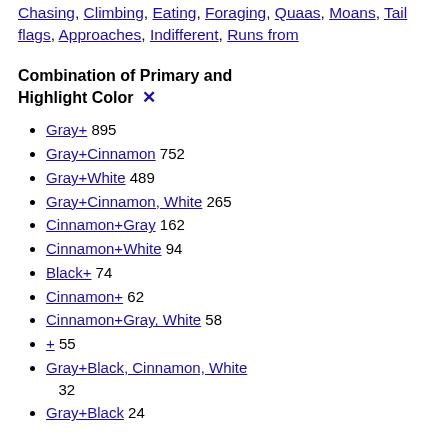Chasing, Climbing, Eating, Foraging, Quaas, Moans, Tail flags, Approaches, Indifferent, Runs from
Combination of Primary and Highlight Color ✕
Gray+ 895
Gray+Cinnamon 752
Gray+White 489
Gray+Cinnamon, White 265
Cinnamon+Gray 162
Cinnamon+White 94
Black+ 74
Cinnamon+ 62
Cinnamon+Gray, White 58
+ 55
Gray+Black, Cinnamon, White 32
Gray+Black 24